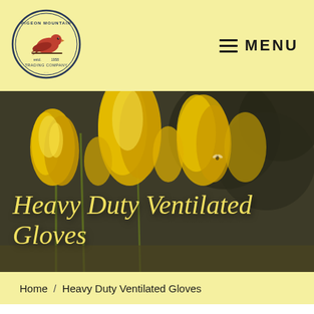[Figure (logo): Pigeon Mountain Trading Company circular logo with a bird and text]
≡ MENU
[Figure (photo): Hero banner showing yellow goldenrod flowers with a bee, dark background]
Heavy Duty Ventilated Gloves
Home / Heavy Duty Ventilated Gloves
[Figure (photo): Product photo of white ventilated gloves on grey background, partially visible]